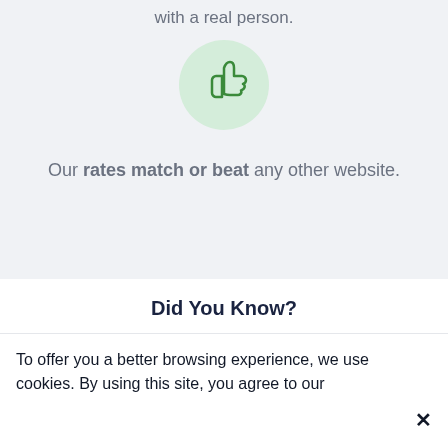with a real person.
[Figure (illustration): A thumbs-up icon in green inside a light green circle]
Our rates match or beat any other website.
Did You Know?
To offer you a better browsing experience, we use cookies. By using this site, you agree to our